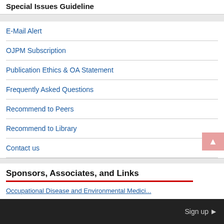Special Issues Guideline
E-Mail Alert
OJPM Subscription
Publication Ethics & OA Statement
Frequently Asked Questions
Recommend to Peers
Recommend to Library
Contact us
Sponsors, Associates, and Links
Occupational Disease and Environmental Medicine
Sign up